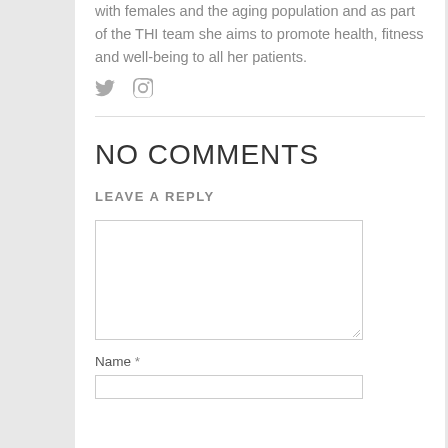with females and the aging population and as part of the THI team she aims to promote health, fitness and well-being to all her patients.
[Figure (illustration): Twitter bird icon and Instagram camera icon in gray]
NO COMMENTS
LEAVE A REPLY
Name *